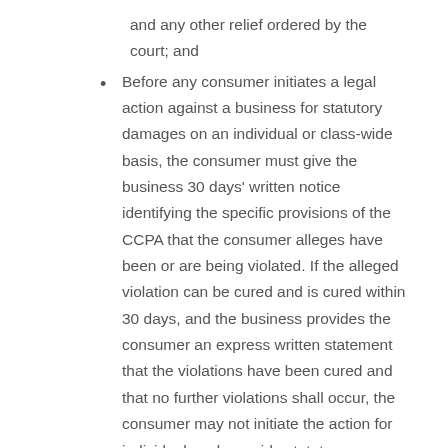and any other relief ordered by the court; and
Before any consumer initiates a legal action against a business for statutory damages on an individual or class-wide basis, the consumer must give the business 30 days' written notice identifying the specific provisions of the CCPA that the consumer alleges have been or are being violated. If the alleged violation can be cured and is cured within 30 days, and the business provides the consumer an express written statement that the violations have been cured and that no further violations shall occur, the consumer may not initiate the action for individual or class-wide statutory damages. The 30-day notice and cure provision does not apply to actions solely for actual pecuniary damages.